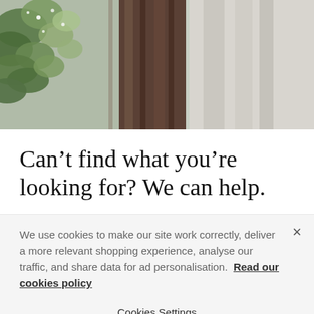[Figure (photo): A lifestyle retail photo showing green foliage/leaves on the left, a dark wood post in the center, and a light grey linen curtain on the right, in a home interior setting.]
Can’t find what you’re looking for? We can help.
We use cookies to make our site work correctly, deliver a more relevant shopping experience, analyse our traffic, and share data for ad personalisation. Read our cookies policy
Cookies Settings
OK